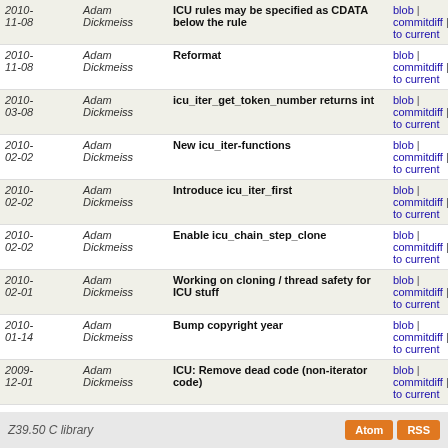| Date | Author | Message | Links |
| --- | --- | --- | --- |
| 2010-11-08 | Adam Dickmeiss | ICU rules may be specified as CDATA below the rule | blob | commitdiff | diff to current |
| 2010-11-08 | Adam Dickmeiss | Reformat | blob | commitdiff | diff to current |
| 2010-03-08 | Adam Dickmeiss | icu_iter_get_token_number returns int | blob | commitdiff | diff to current |
| 2010-02-02 | Adam Dickmeiss | New icu_iter-functions | blob | commitdiff | diff to current |
| 2010-02-02 | Adam Dickmeiss | Introduce icu_iter_first | blob | commitdiff | diff to current |
| 2010-02-02 | Adam Dickmeiss | Enable icu_chain_step_clone | blob | commitdiff | diff to current |
| 2010-02-01 | Adam Dickmeiss | Working on cloning / thread safety for ICU stuff | blob | commitdiff | diff to current |
| 2010-01-14 | Adam Dickmeiss | Bump copyright year | blob | commitdiff | diff to current |
| 2009-12-01 | Adam Dickmeiss | ICU: Remove dead code (non-iterator code) | blob | commitdiff | diff to current |
| 2009-12-01 | Adam Dickmeiss | ICU: using icu_iter for existing interface | blob | commitdiff | diff to current |
| 2009-12-01 | Adam Dickmeiss | ICU: iterator type | blob | commitdiff | diff to current |
| 2009-11-30 | Adam Dickmeiss | Split ICU wrapper library into several sources | blob | commitdiff | diff to current |
Z39.50 C library   Atom  RSS